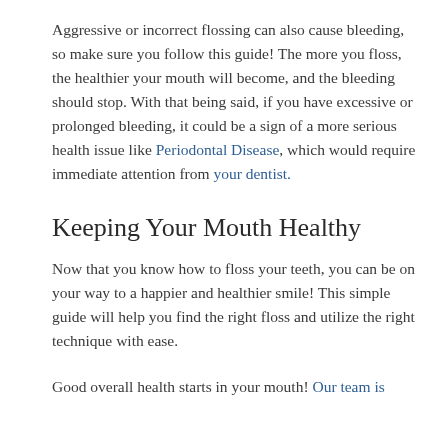Aggressive or incorrect flossing can also cause bleeding, so make sure you follow this guide! The more you floss, the healthier your mouth will become, and the bleeding should stop. With that being said, if you have excessive or prolonged bleeding, it could be a sign of a more serious health issue like Periodontal Disease, which would require immediate attention from your dentist.
Keeping Your Mouth Healthy
Now that you know how to floss your teeth, you can be on your way to a happier and healthier smile! This simple guide will help you find the right floss and utilize the right technique with ease.
Good overall health starts in your mouth! Our team is